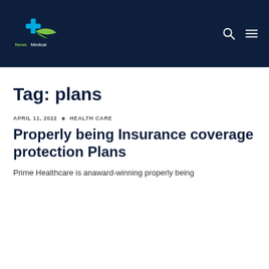[Figure (logo): News Medical logo with blue cross and green leaf, white text on dark navy header]
Tag: plans
APRIL 11, 2022 · HEALTH CARE
Properly being Insurance coverage protection Plans
Prime Healthcare is anaward-winning properly being